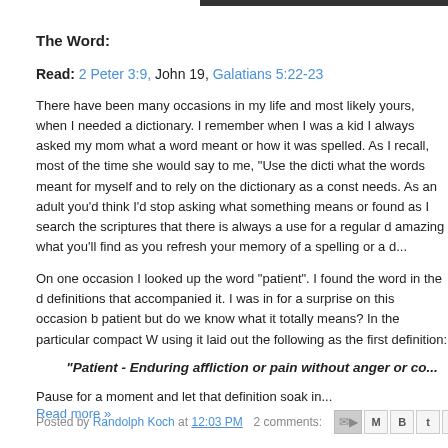The Word:
Read: 2 Peter 3:9, John 19, Galatians 5:22-23
There have been many occasions in my life and most likely yours, when I needed a dictionary. I remember when I was a kid I always asked my mom what a word meant or how it was spelled. As I recall, most of the time she would say to me, "Use the dictionary." I had to find out what the words meant for myself and to rely on the dictionary as a constant reference for my needs. As an adult you'd think I'd stop asking what something means or how it's spelled. I've found as I search the scriptures that there is always a use for a regular dictionary as well. It's amazing what you'll find as you refresh your memory of a spelling or a d...
On one occasion I looked up the word "patient". I found the word in the dictionary and the definitions that accompanied it. I was in for a surprise on this occasion b... We often use the word patient but do we know what it totally means? In the particular compact Webster's I was using it laid out the following as the first definition:
"Patient - Enduring affliction or pain without anger or co...
Pause for a moment and let that definition soak in...
Read more »
Posted by Randolph Koch at 12:03 PM   2 comments: